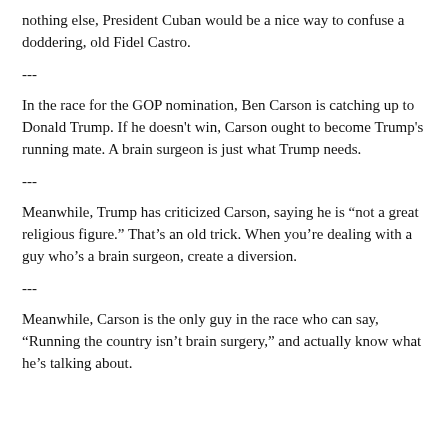nothing else, President Cuban would be a nice way to confuse a doddering, old Fidel Castro.
---
In the race for the GOP nomination, Ben Carson is catching up to Donald Trump. If he doesn't win, Carson ought to become Trump's running mate. A brain surgeon is just what Trump needs.
---
Meanwhile, Trump has criticized Carson, saying he is “not a great religious figure.” That’s an old trick. When you’re dealing with a guy who’s a brain surgeon, create a diversion.
---
Meanwhile, Carson is the only guy in the race who can say, “Running the country isn’t brain surgery,” and actually know what he’s talking about.